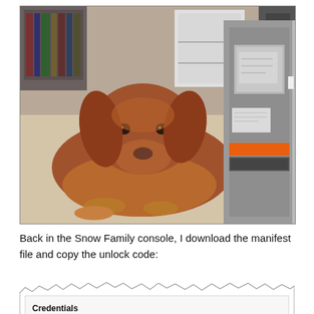[Figure (photo): A golden/red-coated dog lying on a beige carpet, looking at the camera. To the right of the dog is a tall gray rectangular device (an AWS Snowball) with an orange stripe and a label on the front. In the background are bookshelves and an office chair.]
Back in the Snow Family console, I download the manifest file and copy the unlock code:
[Figure (screenshot): A screenshot of the AWS Snow Family console showing a credentials section. Only the top portion is visible with the heading 'Credentials'.]